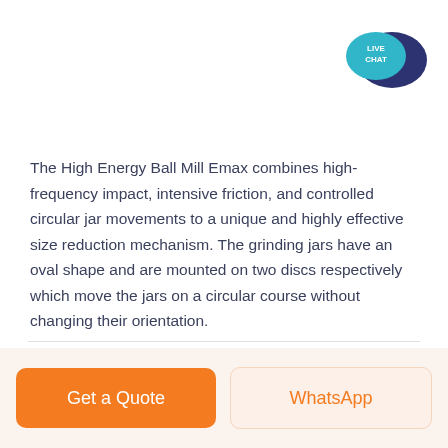[Figure (logo): Live Chat icon: teal speech bubble with 'LIVE CHAT' text overlapping a dark navy speech bubble]
The High Energy Ball Mill Emax combines high-frequency impact, intensive friction, and controlled circular jar movements to a unique and highly effective size reduction mechanism. The grinding jars have an oval shape and are mounted on two discs respectively which move the jars on a circular course without changing their orientation.
Get a Quote
WhatsApp